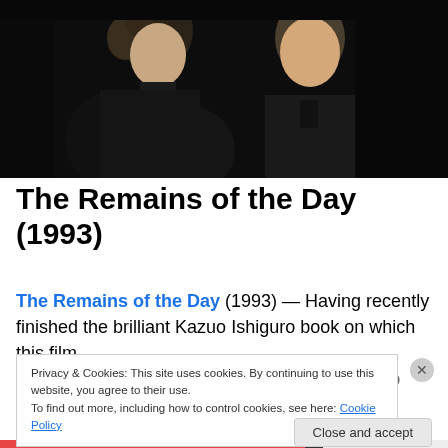[Figure (photo): Dark photo of two people — a woman with curly hair on the left and a man in formal attire on the right, against a dark background.]
The Remains of the Day (1993)
The Remains of the Day (1993) — Having recently finished the brilliant Kazuo Ishiguro book on which this film is based I decided to watch this movie. Doing so was a
Privacy & Cookies: This site uses cookies. By continuing to use this website, you agree to their use.
To find out more, including how to control cookies, see here: Cookie Policy